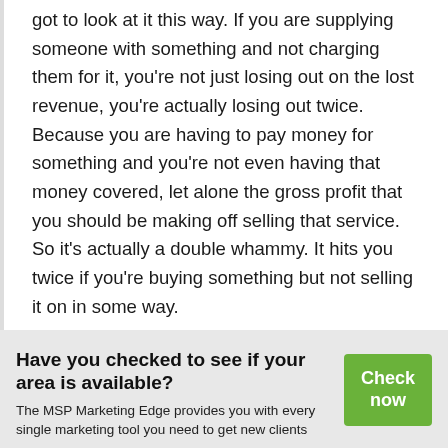got to look at it this way. If you are supplying someone with something and not charging them for it, you're not just losing out on the lost revenue, you're actually losing out twice. Because you are having to pay money for something and you're not even having that money covered, let alone the gross profit that you should be making off selling that service. So it's actually a double whammy. It hits you twice if you're buying something but not selling it on in some way.
Have you checked to see if your area is available?
The MSP Marketing Edge provides you with every single marketing tool you need to get new clients